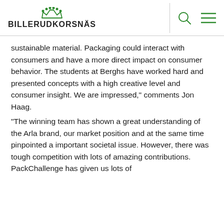BILLERUDKORSNÄS
sustainable material. Packaging could interact with consumers and have a more direct impact on consumer behavior. The students at Berghs have worked hard and presented concepts with a high creative level and consumer insight. We are impressed," comments Jon Haag.
"The winning team has shown a great understanding of the Arla brand, our market position and at the same time pinpointed a important societal issue. However, there was tough competition with lots of amazing contributions. PackChallenge has given us lots of